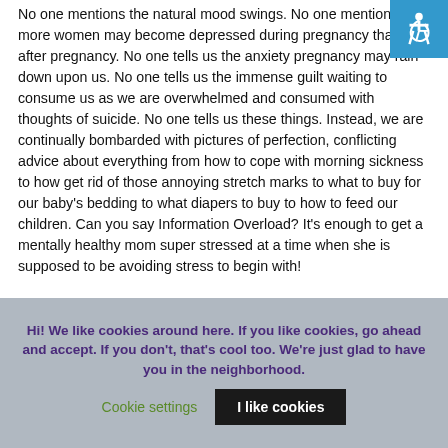No one mentions the natural mood swings. No one mentions that more women may become depressed during pregnancy than after pregnancy. No one tells us the anxiety pregnancy may rain down upon us. No one tells us the immense guilt waiting to consume us as we are overwhelmed and consumed with thoughts of suicide. No one tells us these things. Instead, we are continually bombarded with pictures of perfection, conflicting advice about everything from how to cope with morning sickness to how get rid of those annoying stretch marks to what to buy for our baby's bedding to what diapers to buy to how to feed our children. Can you say Information Overload? It's enough to get a mentally healthy mom super stressed at a time when she is supposed to be avoiding stress to begin with!
Hi! We like cookies around here. If you like cookies, go ahead and accept. If you don't, that's cool too. We're just glad to have you in the neighborhood.